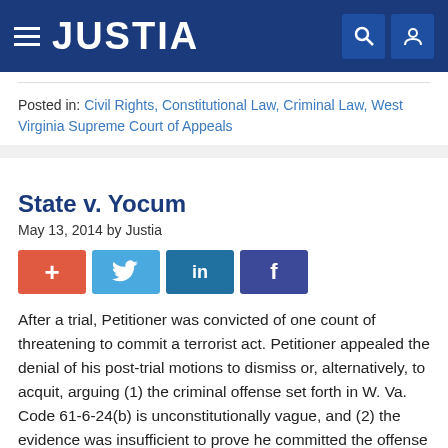JUSTIA
Posted in: Civil Rights, Constitutional Law, Criminal Law, West Virginia Supreme Court of Appeals
State v. Yocum
May 13, 2014 by Justia
[Figure (other): Social sharing buttons: +, Twitter bird icon, LinkedIn in, Facebook f]
After a trial, Petitioner was convicted of one count of threatening to commit a terrorist act. Petitioner appealed the denial of his post-trial motions to dismiss or, alternatively, to acquit, arguing (1) the criminal offense set forth in W. Va. Code 61-6-24(b) is unconstitutionally vague, and (2) the evidence was insufficient to prove he committed the offense of